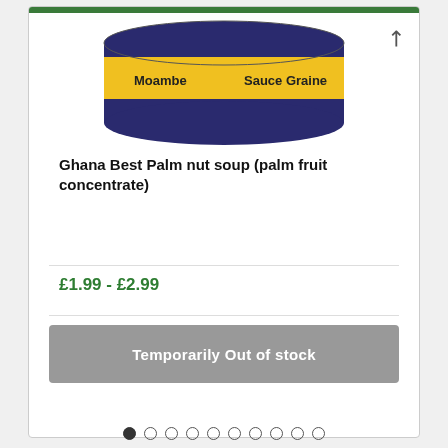[Figure (photo): Partial view of a can/tin of Moambe Sauce Graine product with yellow label, viewed from above at an angle. The top of the tin shows 'Moambe' on the left and 'Sauce Graine' on the right in black text on a yellow background.]
Ghana Best Palm nut soup (palm fruit concentrate)
£1.99 - £2.99
Temporarily Out of stock